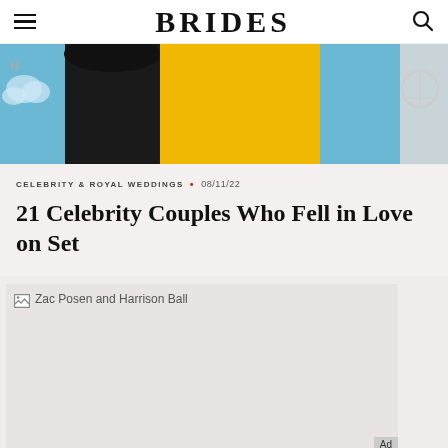BRIDES
[Figure (photo): Partial photo showing a person with curly black hair wearing a yellow garment, in front of a blue background with a Mercedes-Benz logo visible on the right side.]
CELEBRITY & ROYAL WEDDINGS • 08/11/22
21 Celebrity Couples Who Fell in Love on Set
[Figure (photo): Image placeholder for Zac Posen and Harrison Ball photo, not yet loaded.]